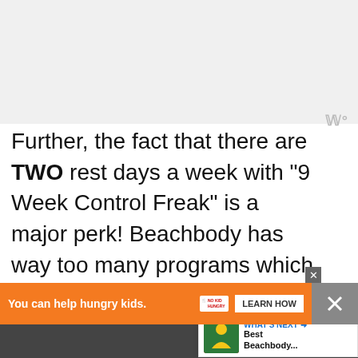[Figure (photo): Grey/white background image area at top of page]
Further, the fact that there are TWO rest days a week with “9 Week Control Freak” is a major perk! Beachbody has way too many programs which are 6 or even 7 days a week, and those are simply not realistic, nor good for the body. I love Autumn’s emphasis in “9WCF” on rest as it scientifically IS when your muscles actually do their growing.
[Figure (infographic): What's Next panel with thumbnail image and text 'Best Beachbody...']
[Figure (infographic): Advertisement bar: 'You can help hungry kids. NO KID HUNGRY LEARN HOW' on orange background]